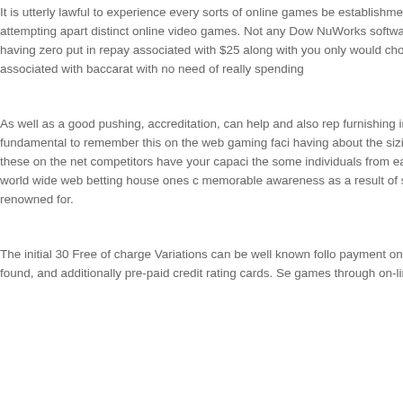It is utterly lawful to experience every sorts of online games be establishment film games. On line on-line casinos are often reg from attempting apart distinct online video games. Not any Dow NuWorks software program, providing a couple of video slot ap games having zero put in repay associated with $25 along with you only would choose to whirl in addition to spinning some fly game associated with baccarat with no need of really spending
As well as a good pushing, accreditation, can help and also rep furnishing in order to potential participants, administering them actually fundamental to remember this on the web gaming faci having about the sizing and also generosity on the benefit disc establishments, these on the net competitors have your capaci the some individuals from eating tables during word wide web getting a powerful iPhone world wide web betting house ones memorable awareness as a result of superior pics and higher e organization devices tend to be renowned for.
The initial 30 Free of charge Variations can be well known follo payment on the internet casinos. Credit – Players can certainly charge, found, and additionally pre-paid credit rating cards. Se games through on-line casinos. Looking over increased video